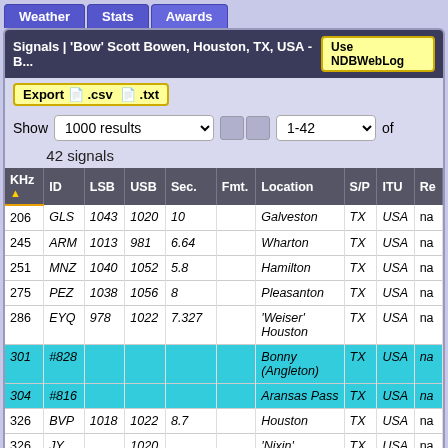Weather | Stats | Awards
Signals | 'Bow' Scott Bowen, Houston, TX, USA - B... | Use NDBWebLog
Export .csv .txt
Show 1000 results 1-42 of 42 signals
| KHz | ID | LSB | USB | Sec. | Fmt. | Location | S/P | ITU | Re |
| --- | --- | --- | --- | --- | --- | --- | --- | --- | --- |
| 206 | GLS | 1043 | 1020 | 10 |  | Galveston | TX | USA | na |
| 245 | ARM | 1013 | 981 | 6.64 |  | Wharton | TX | USA | na |
| 251 | MNZ | 1040 | 1052 | 5.8 |  | Hamilton | TX | USA | na |
| 275 | PEZ | 1038 | 1056 | 8 |  | Pleasanton | TX | USA | na |
| 286 | EYQ | 978 | 1022 | 7.327 |  | 'Weiser' Houston | TX | USA | na |
| 301 | #828 |  |  |  |  | Bonny (Angleton) | TX | USA | na |
| 304 | #816 |  |  |  |  | Aransas Pass | TX | USA | na |
| 326 | BVP | 1018 | 1022 | 8.7 |  | Houston | TX | USA | na |
| 326 | JY |  | 1020 |  |  | 'Nixin' Houston | TX | USA | na |
| 338 | HR | 1055 | 1020 | 8.1 |  | 'Sebas' Harlingen | TX | USA | na |
| 344 | BYY |  | 1019 | 10.295 |  | Bay City | TX | USA | na |